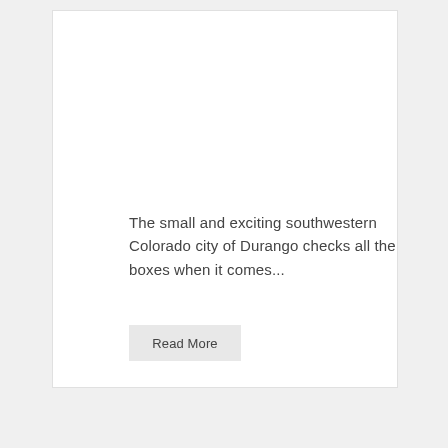The small and exciting southwestern Colorado city of Durango checks all the boxes when it comes...
Read More